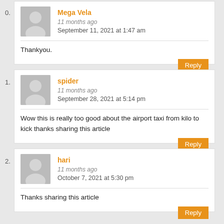0.
Mega Vela
11 months ago
September 11, 2021 at 1:47 am
Thankyou.
Reply
1.
spider
11 months ago
September 28, 2021 at 5:14 pm
Wow this is really too good about the airport taxi from kilo to kick thanks sharing this article
Reply
2.
hari
11 months ago
October 7, 2021 at 5:30 pm
Thanks sharing this article
Reply